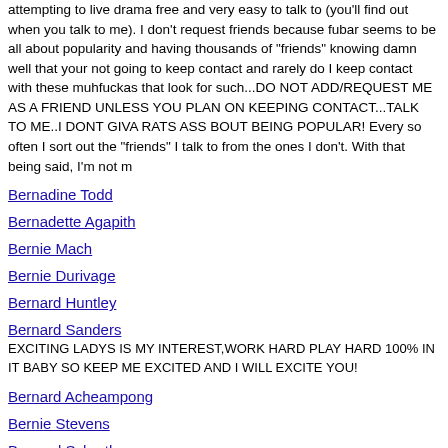attempting to live drama free and very easy to talk to (you'll find out when you talk to me). I don't request friends because fubar seems to be all about popularity and having thousands of "friends" knowing damn well that your not going to keep contact and rarely do I keep contact with these muhfuckas that look for such...DO NOT ADD/REQUEST ME AS A FRIEND UNLESS YOU PLAN ON KEEPING CONTACT...TALK TO ME..I DONT GIVA RATS ASS BOUT BEING POPULAR! Every so often I sort out the "friends" I talk to from the ones I don't. With that being said, I'm not m
Bernadine Todd
Bernadette Agapith
Bernie Mach
Bernie Durivage
Bernard Huntley
Bernard Sanders
EXCITING LADYS IS MY INTEREST,WORK HARD PLAY HARD 100% IN IT BABY SO KEEP ME EXCITED AND I WILL EXCITE YOU!
Bernard Acheampong
Bernie Stevens
Bernard Schroth
Bernice Sawyer
Bernadette
HAPPY AND UNHAPPY WITH MY CURRENT LOVE LIFE---- MIGHT